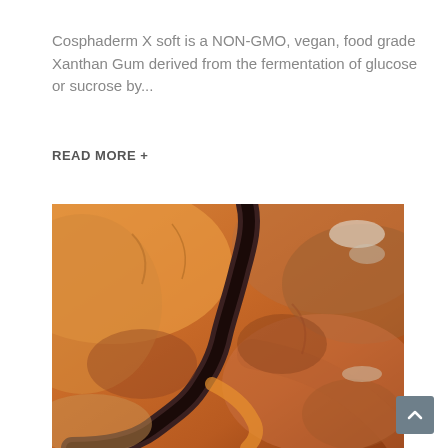Cosphaderm X soft is a NON-GMO, vegan, food grade Xanthan Gum derived from the fermentation of glucose or sucrose by...
READ MORE +
[Figure (photo): Aerial photograph of a desert canyon landscape showing red-orange rocky terrain with a dark winding river or gorge cutting through the center. The terrain features swirling patterns of russet, amber, and brown colors with some white mineral deposits visible.]